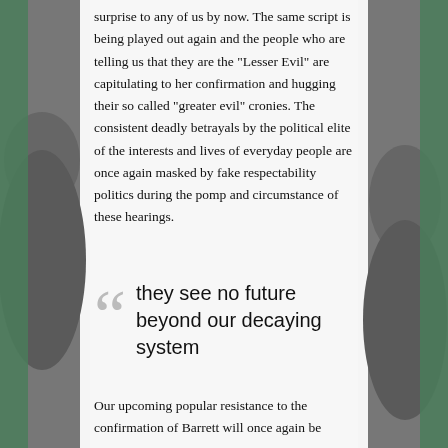surprise to any of us by now. The same script is being played out again and the people who are telling us that they are the "Lesser Evil" are capitulating to her confirmation and hugging their so called "greater evil" cronies. The consistent deadly betrayals by the political elite of the interests and lives of everyday people are once again masked by fake respectability politics during the pomp and circumstance of these hearings.
they see no future beyond our decaying system
Our upcoming popular resistance to the confirmation of Barrett will once again be